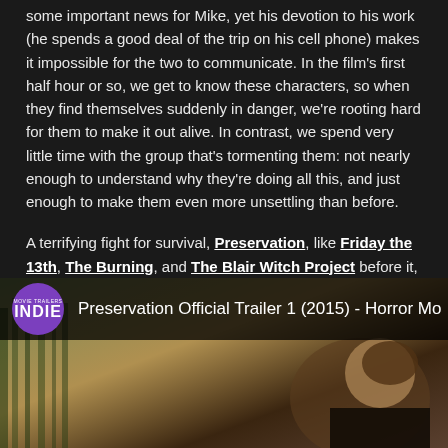some important news for Mike, yet his devotion to his work (he spends a good deal of the trip on his cell phone) makes it impossible for the two to communicate. In the film's first half hour or so, we get to know these characters, so when they find themselves suddenly in danger, we're rooting hard for them to make it out alive. In contrast, we spend very little time with the group that's tormenting them: not nearly enough to understand why they're doing all this, and just enough to make them even more unsettling than before.

A terrifying fight for survival, Preservation, like Friday the 13th, The Burning, and The Blair Witch Project before it, gives you yet another good reason to stay out of the woods.
[Figure (screenshot): YouTube video thumbnail for 'Preservation Official Trailer 1 (2015) - Horror Mo' with INDIE channel logo (purple circle) on the left, showing a forest scene with a person visible.]